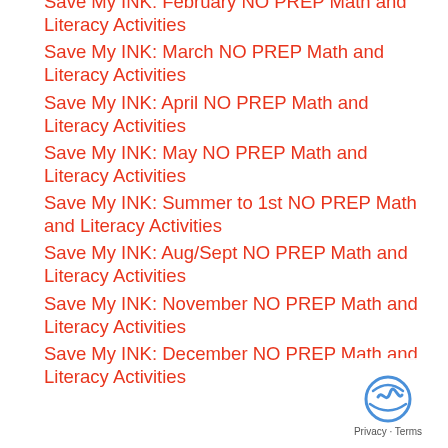Save My INK: February NO PREP Math and Literacy Activities
Save My INK: March NO PREP Math and Literacy Activities
Save My INK: April NO PREP Math and Literacy Activities
Save My INK: May NO PREP Math and Literacy Activities
Save My INK: Summer to 1st NO PREP Math and Literacy Activities
Save My INK: Aug/Sept NO PREP Math and Literacy Activities
Save My INK: November NO PREP Math and Literacy Activities
Save My INK: December NO PREP Math and Literacy Activities